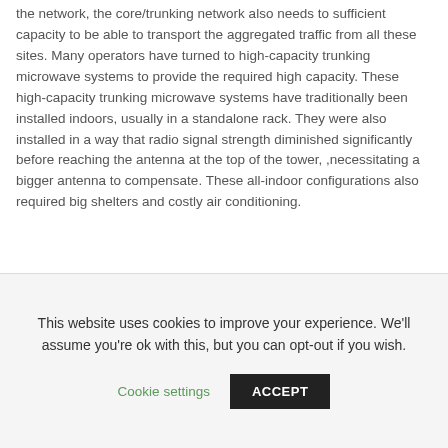the network, the core/trunking network also needs to sufficient capacity to be able to transport the aggregated traffic from all these sites. Many operators have turned to high-capacity trunking microwave systems to provide the required high capacity. These high-capacity trunking microwave systems have traditionally been installed indoors, usually in a standalone rack. They were also installed in a way that radio signal strength diminished significantly before reaching the antenna at the top of the tower, ,necessitating a bigger antenna to compensate. These all-indoor configurations also required big shelters and costly air conditioning.
Removing outdoor hardware...
This website uses cookies to improve your experience. We'll assume you're ok with this, but you can opt-out if you wish.